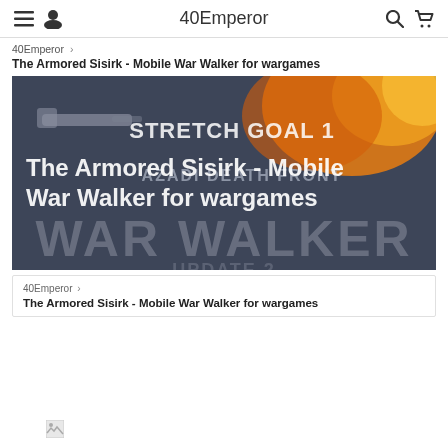40Emperor
40Emperor > The Armored Sisirk - Mobile War Walker for wargames
[Figure (photo): Product promotional image showing 'STRETCH GOAL 1 - The Armored Sisirk - Mobile War Walker for wargames' with 'AZADI DEATH FRONT WAR WALKER' text overlay on a dark background with orange fire effects]
40Emperor > The Armored Sisirk - Mobile War Walker for wargames